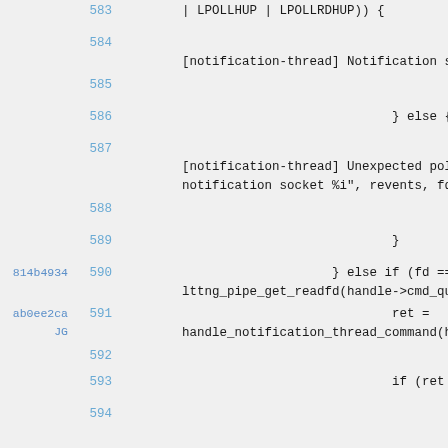Code viewer showing lines 583-594 of a C source file with commit hashes 814b4934, ab0ee2ca JG
| commit | line | code |
| --- | --- | --- |
|  | 583 | | LPOLLHUP | LPOLLRDHUP)) { |
|  | 584 | E
[notification-thread] Notification socket |
|  | 585 | g |
|  | 586 | } else { |
|  | 587 | E
[notification-thread] Unexpected poll eve
notification socket %i", revents, fd); |
|  | 588 | g |
|  | 589 | } |
| 814b4934 | 590 | } else if (fd ==
lttng_pipe_get_readfd(handle->cmd_queue.e |
| ab0ee2ca JG | 591 | ret =
handle_notification_thread_command(handle |
|  | 592 |  |
|  | 593 | if (ret < |
|  | 594 | D |